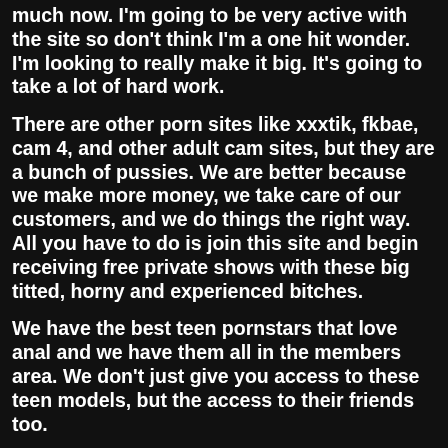much now. I'm going to be very active with the site so don't think I'm a one hit wonder. I'm looking to really make it big. It's going to take a lot of hard work.
There are other porn sites like xxxtik, fkbae, cam 4, and other adult cam sites, but they are a bunch of pussies. We are better because we make more money, we take care of our customers, and we do things the right way. All you have to do is join this site and begin receiving free private shows with these big titted, horny and experienced bitches.
We have the best teen pornstars that love anal and we have them all in the members area. We don't just give you access to these teen models, but the access to their friends too.